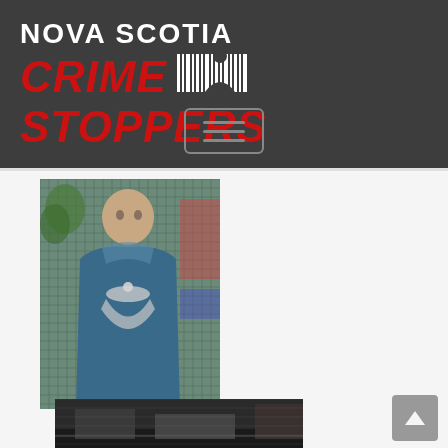NOVA SCOTIA CRIME STOPPERS
[Figure (photo): Surveillance camera footage showing a person wearing a blue hoodie/jacket with a white design on the front, pixelated CCTV image]
[Figure (photo): Partial surveillance camera footage showing a dark scene, bottom portion of a second CCTV image]